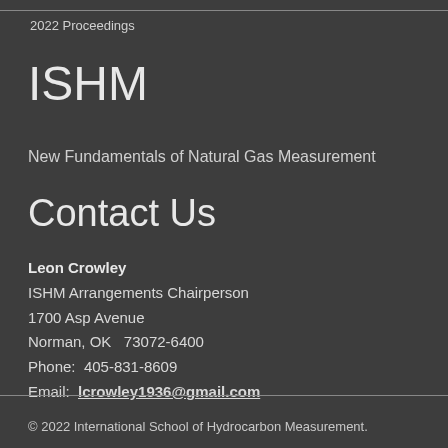2022 Proceedings
ISHM
New Fundamentals of Natural Gas Measurement
Contact Us
Leon Crowley
ISHM Arrangements Chairperson
1700 Asp Avenue
Norman, OK  73072-6400
Phone:  405-831-8609
Email:  lcrowley1936@gmail.com
© 2022 International School of Hydrocarbon Measurement.